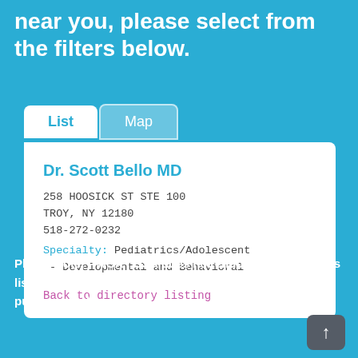near you, please select from the filters below.
List
Map
Dr. Scott Bello MD
258 HOOSICK ST STE 100
TROY, NY 12180
518-272-0232
Specialty: Pediatrics/Adolescent - Developmental and Behavioral

Back to directory listing
Please note, PWSA | USA does not endorse the providers listed here. This service is provided for informational purposes only.